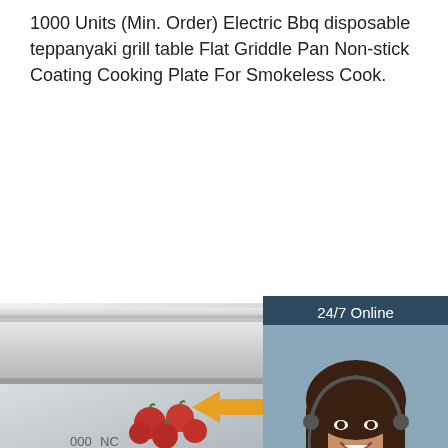1000 Units (Min. Order) Electric Bbq disposable teppanyaki grill table Flat Griddle Pan Non-stick Coating Cooking Plate For Smokeless Cook.
[Figure (other): Orange 'Get Price' button]
[Figure (other): Customer service chat widget with '24/7 Online' header, photo of woman with headset, 'Click here for free chat!' text, and orange QUOTATION button]
[Figure (photo): Product photo of a white electric flat griddle pan/cooking plate on a marble surface, with cherry tomatoes visible and an orange arrow pointing left toward a dotted arc labeled TOP]